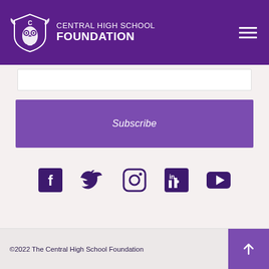[Figure (logo): Central High School Foundation logo with owl mascot and text 'CENTRAL HIGH SCHOOL FOUNDATION' on purple header with hamburger menu icon]
Subscribe
[Figure (infographic): Social media icons row: Facebook, Twitter, Instagram, LinkedIn, YouTube]
©2022 The Central High School Foundation